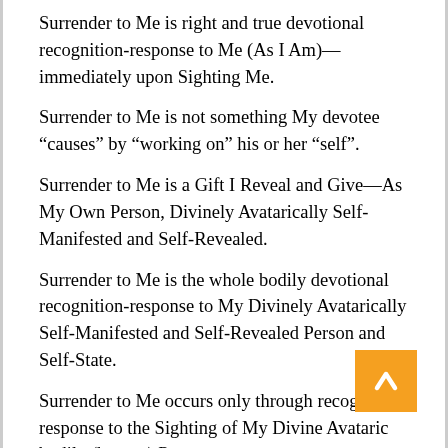Surrender to Me is right and true devotional recognition-response to Me (As I Am)—immediately upon Sighting Me.
Surrender to Me is not something My devotee “causes” by “working on” his or her “self”.
Surrender to Me is a Gift I Reveal and Give—As My Own Person, Divinely Avatarically Self-Manifested and Self-Revealed.
Surrender to Me is the whole bodily devotional recognition-response to My Divinely Avatarically Self-Manifested and Self-Revealed Person and Self-State.
Surrender to Me occurs only through recognition-response to the Sighting of My Divine Avataric bodily (human) Person.
Therefore, for My right and true devotees, surrender to Me is the happening that coincides with the intrinsic profundity of mere Sighting of My Divine Avataric bodily (human) Person.
In that profoundest (and profoundly unguarded) Sighting of Me,